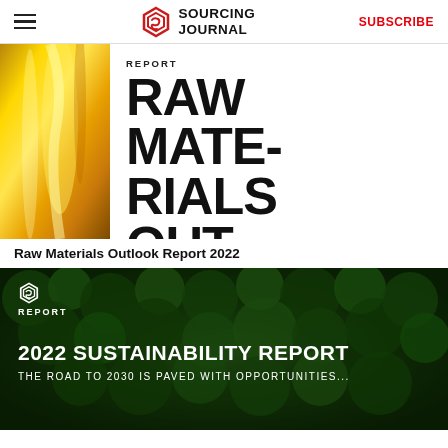Sourcing Journal | SUBSCRIBE
[Figure (screenshot): Raw Materials Outlook Report cover card with golden oil/liquid image on left and large black bold text RAW MATERIALS OUTLOOK on white background with REPORT label]
Raw Materials Outlook Report 2022
[Figure (photo): 2022 Sustainability Report card with aerial view of dense green forest, white Sourcing Journal logo and REPORT label, bold white text reading 2022 SUSTAINABILITY REPORT, subtitle THE ROAD TO 2030 IS PAVED WITH OPPORTUNITIES...]